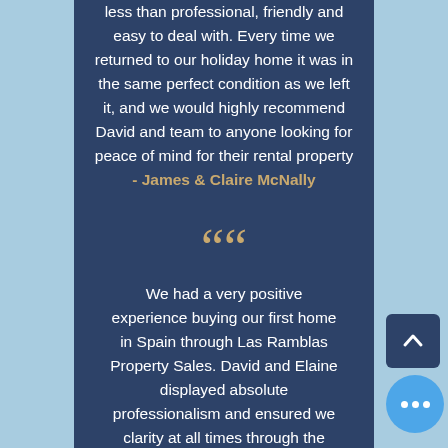less than professional, friendly and easy to deal with. Every time we returned to our holiday home it was in the same perfect condition as we left it, and we would highly recommend David and team to anyone looking for peace of mind for their rental property
- James & Claire McNally
““
We had a very positive experience buying our first home in Spain through Las Ramblas Property Sales. David and Elaine displayed absolute professionalism and ensured we clarity at all times through the purchase of the property, so much help was given